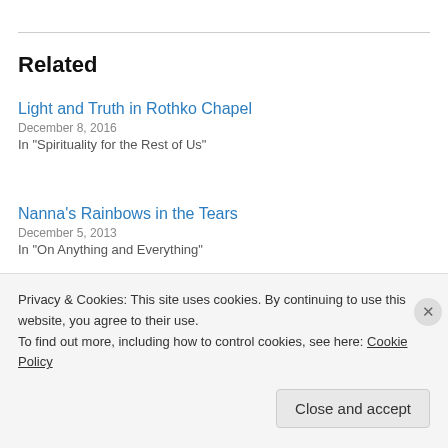Related
Light and Truth in Rothko Chapel
December 8, 2016
In "Spirituality for the Rest of Us"
Nanna's Rainbows in the Tears
December 5, 2013
In "On Anything and Everything"
Christmas (and shopping) for others
December 26, 2016
Privacy & Cookies: This site uses cookies. By continuing to use this website, you agree to their use.
To find out more, including how to control cookies, see here: Cookie Policy